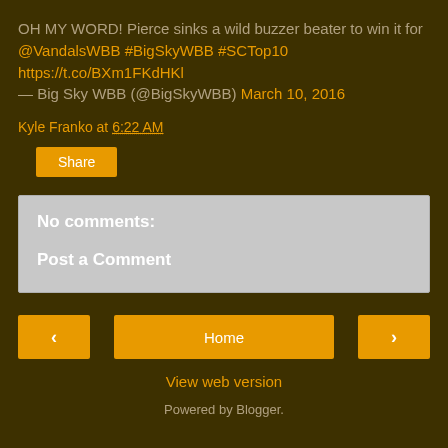OH MY WORD! Pierce sinks a wild buzzer beater to win it for @VandalsWBB #BigSkyWBB #SCTop10 https://t.co/BXm1FKdHKl — Big Sky WBB (@BigSkyWBB) March 10, 2016
Kyle Franko at 6:22 AM
Share
No comments:
Post a Comment
Home
View web version
Powered by Blogger.